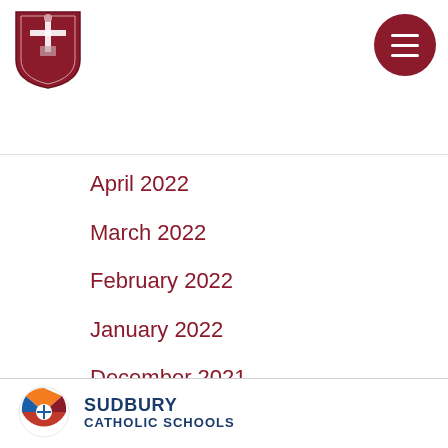[Figure (logo): School crest/shield logo in dark red/maroon with cross and book symbols]
[Figure (logo): Hamburger menu button - dark red circle with three white horizontal lines]
April 2022
March 2022
February 2022
January 2022
December 2021
November 2021
October 2021
June 2021
[Figure (logo): Sudbury Catholic Schools logo - circular icon with blue, orange, and red sections, beside text SUDBURY CATHOLIC SCHOOLS]